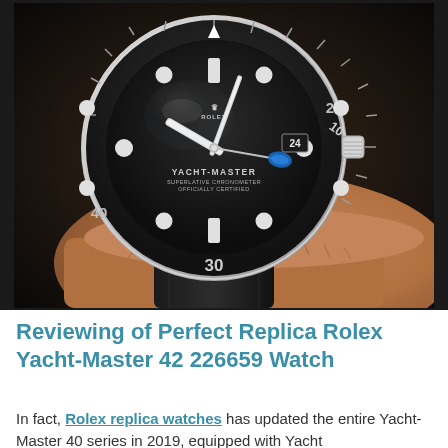[Figure (photo): Close-up photograph of a Rolex Yacht-Master 42 226659 watch worn on a wrist. The watch has a black ceramic bezel with white numerals (10, 20, 30, 40 visible), a black dial with the Rolex crown logo, 'YACHT-MASTER' text, large circular hour markers in white/silver, and Mercedes-style hands. The watch is on a black rubber strap. The crown/winding mechanism is visible on the right side. Dark background.]
Reviewing of Perfect Replica Rolex Yacht-Master 42 226659 Watch
In fact, Rolex replica watches has updated the entire Yacht-Master 40 series in 2019, equipped with Yacht